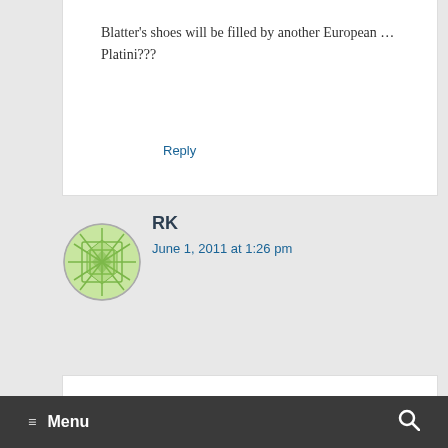Blatter's shoes will be filled by another European …Platini???
Reply
RK
June 1, 2011 at 1:26 pm
Michael Owen? Fit?
Menu